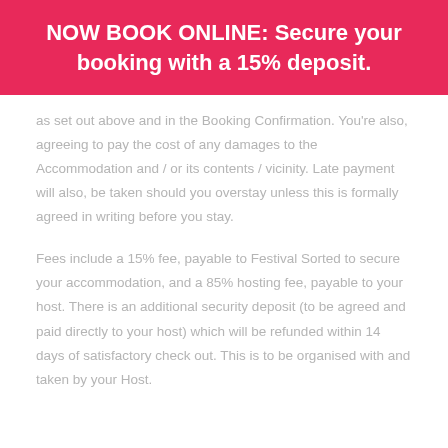NOW BOOK ONLINE: Secure your booking with a 15% deposit.
as set out above and in the Booking Confirmation. You're also, agreeing to pay the cost of any damages to the Accommodation and / or its contents / vicinity. Late payment will also, be taken should you overstay unless this is formally agreed in writing before you stay.
Fees include a 15% fee, payable to Festival Sorted to secure your accommodation, and a 85% hosting fee, payable to your host. There is an additional security deposit (to be agreed and paid directly to your host) which will be refunded within 14 days of satisfactory check out. This is to be organised with and taken by your Host.